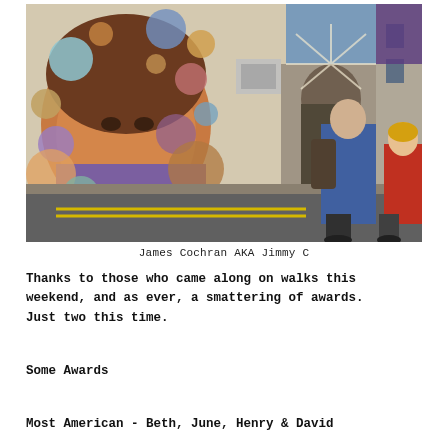[Figure (photo): Street scene photo showing a large colorful mural of a woman's face surrounded by spheres/bubbles on a building wall, with people standing in the foreground viewing the mural. A man in a blue plaid shirt and a woman in a red top are visible on the right side of the image.]
James Cochran AKA Jimmy C
Thanks to those who came along on walks this weekend, and as ever, a smattering of awards. Just two this time.
Some Awards
Most American - Beth, June, Henry & David